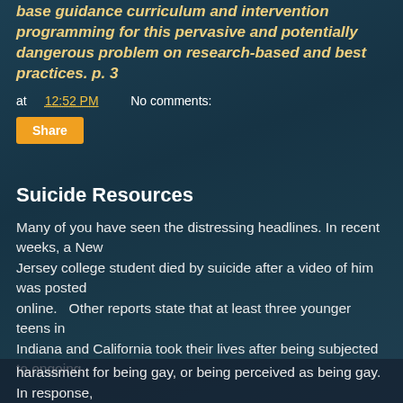base guidance curriculum and intervention programming for this pervasive and potentially dangerous problem on research-based and best practices. p. 3
at 12:52 PM   No comments:
Share
Suicide Resources
Many of you have seen the distressing headlines. In recent weeks, a New Jersey college student died by suicide after a video of him was posted online.   Other reports state that at least three younger teens in Indiana and California took their lives after being subjected to ongoing harassment for being gay, or being perceived as being gay. In response,